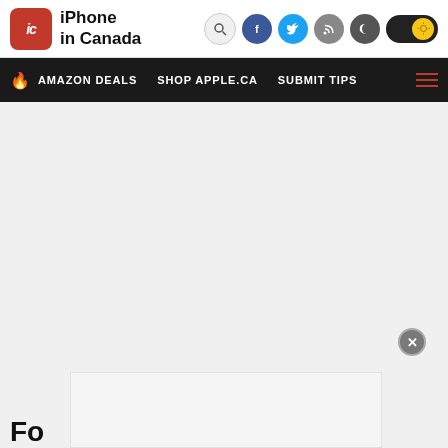[Figure (logo): iPhone in Canada website logo with red rounded square icon containing 'ic' in italic white text, next to bold black text 'iPhone in Canada']
iPhone in Canada — navigation header with search, Facebook, Twitter, RSS, dark/light mode icons
AMAZON DEALS   SHOP APPLE.CA   SUBMIT TIPS
Fo